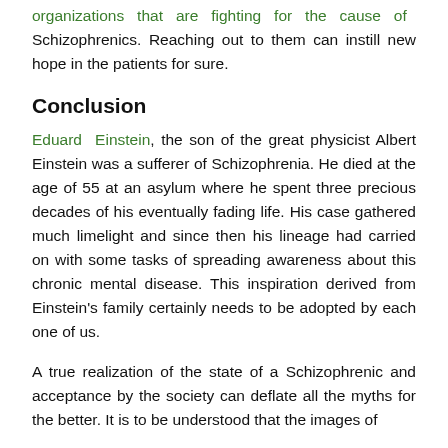organizations that are fighting for the cause of Schizophrenics. Reaching out to them can instill new hope in the patients for sure.
Conclusion
Eduard Einstein, the son of the great physicist Albert Einstein was a sufferer of Schizophrenia. He died at the age of 55 at an asylum where he spent three precious decades of his eventually fading life. His case gathered much limelight and since then his lineage had carried on with some tasks of spreading awareness about this chronic mental disease. This inspiration derived from Einstein's family certainly needs to be adopted by each one of us.
A true realization of the state of a Schizophrenic and acceptance by the society can deflate all the myths for the better. It is to be understood that the images of